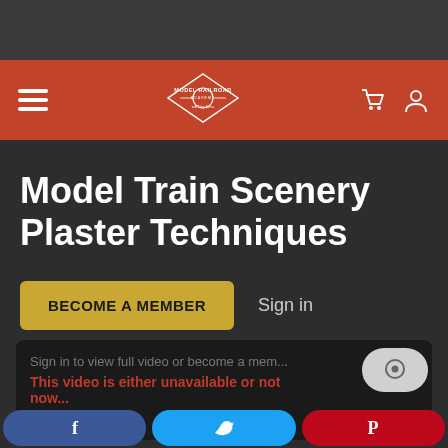[Figure (screenshot): Dark gray top browser bar area]
Model Railroad Academy navigation bar with hamburger menu, logo, cart and user icons
Model Train Scenery Plaster Techniques
BECOME A MEMBER  Sign in
[Figure (screenshot): Video player area showing: Sign in to view full video or become a member. This video is either unavailable or not now. Chat bubble icon visible.]
[Figure (infographic): Social media share buttons: Facebook (blue), Twitter (light blue), Pinterest (red)]